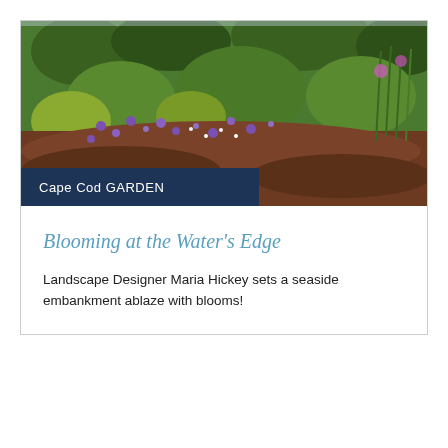[Figure (photo): Garden photograph showing a lush seaside embankment with purple wildflowers, green foliage, and dark mulch pathways under a bright sky]
Cape Cod GARDEN
Blooming at the Water's Edge
Landscape Designer Maria Hickey sets a seaside embankment ablaze with blooms!